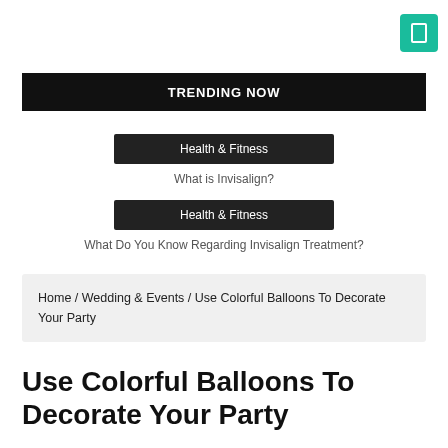[Figure (other): Teal/green square button with a white rectangle icon in top-right corner]
TRENDING NOW
Health & Fitness
What is Invisalign?
Health & Fitness
What Do You Know Regarding Invisalign Treatment?
Home / Wedding & Events / Use Colorful Balloons To Decorate Your Party
Use Colorful Balloons To Decorate Your Party